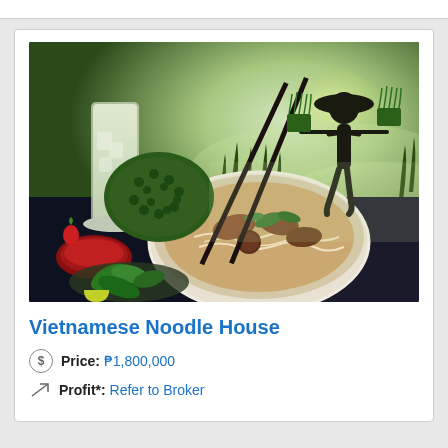[Figure (photo): Vietnamese food composite photo: a bowl of pho noodle soup with chopsticks, a tall glass drink with lime, red sauce in a small bowl, fresh herbs and lime wedge on a plate in the foreground; background shows silhouette of Vietnamese farmer carrying rice seedlings through misty rice paddy fields]
Vietnamese Noodle House
Price: ₱1,800,000
Profit*: Refer to Broker